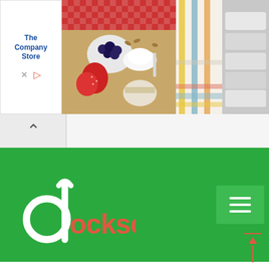[Figure (screenshot): Advertisement banner showing 'The Company Store' logo on the left, food/breakfast items in center, striped fabric on right, and white pillow/sheets on far right]
[Figure (screenshot): Collapse/hide ad bar with upward chevron arrow]
[Figure (logo): Docksci website navigation header with green background, Docksci logo in white and red-orange on left, hamburger menu button on right]
[Figure (screenshot): Scroll-to-top button in bottom right corner with red/orange upward arrow]